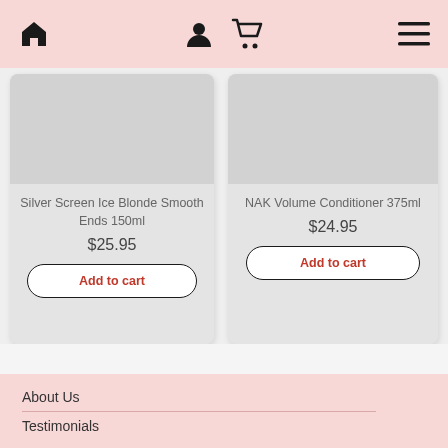Navigation bar with home, user, cart, and menu icons
[Figure (screenshot): Product image placeholder for Silver Screen Ice Blonde Smooth Ends 150ml]
Silver Screen Ice Blonde Smooth Ends 150ml
$25.95
Add to cart
[Figure (screenshot): Product image placeholder for NAK Volume Conditioner 375ml]
NAK Volume Conditioner 375ml
$24.95
Add to cart
About Us
Testimonials